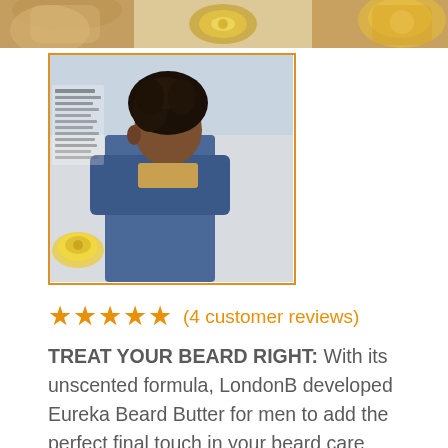[Figure (photo): Top strip showing product images: left partial image of product/person with warm brown tones, center showing a round container lid from above, right showing product container from angle with orange/gold tones.]
[Figure (photo): Thumbnail image of a man with curly hair seen from behind wearing a blue/grey jacket, holding a round gold product container (Eureka Beard Butter). Small text overlay on left side of image.]
★★★★★   (4 customer reviews)
TREAT YOUR BEARD RIGHT: With its unscented formula, LondonB developed Eureka Beard Butter for men to add the perfect final touch in your beard care routine while you kick-start the day, or wind down with something good for your prized facial hair.
$25.00